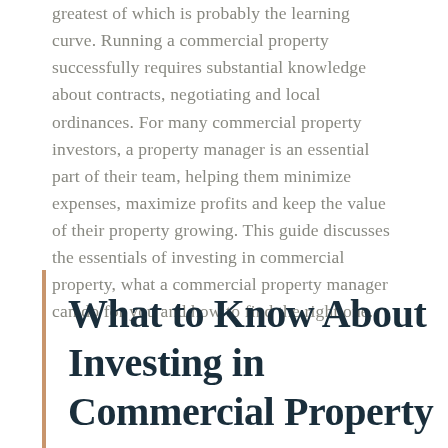greatest of which is probably the learning curve. Running a commercial property successfully requires substantial knowledge about contracts, negotiating and local ordinances. For many commercial property investors, a property manager is an essential part of their team, helping them minimize expenses, maximize profits and keep the value of their property growing. This guide discusses the essentials of investing in commercial property, what a commercial property manager can do for you and how to find the right one.
What to Know About Investing in Commercial Property